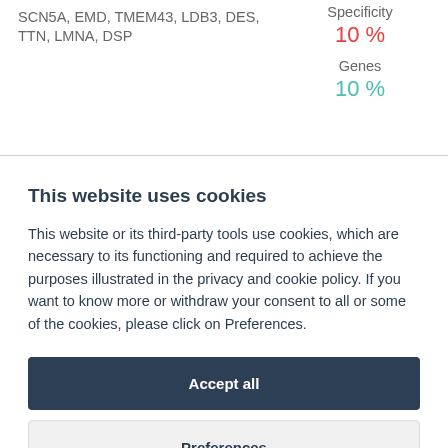SCN5A, EMD, TMEM43, LDB3, DES, TTN, LMNA, DSP
Specificity
10 %
Genes
10 %
This website uses cookies
This website or its third-party tools use cookies, which are necessary to its functioning and required to achieve the purposes illustrated in the privacy and cookie policy. If you want to know more or withdraw your consent to all or some of the cookies, please click on Preferences.
Accept all
Preferences